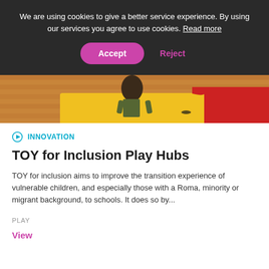We are using cookies to give a better service experience. By using our services you agree to use cookies. Read more
Accept | Reject
[Figure (photo): Child playing on colorful foam mats on a wooden floor, red and yellow mat visible]
INNOVATION
TOY for Inclusion Play Hubs
TOY for inclusion aims to improve the transition experience of vulnerable children, and especially those with a Roma, minority or migrant background, to schools. It does so by...
PLAY
View